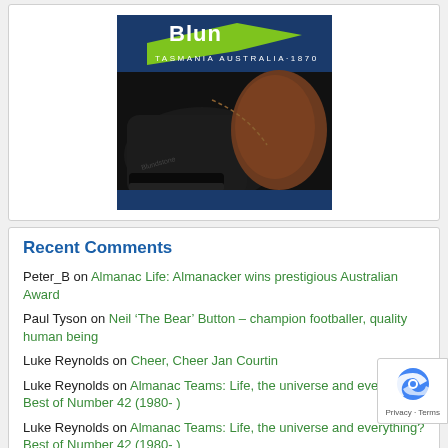[Figure (photo): Blundstone brand advertisement showing logo with 'Tasmania Australia 1870' text and a close-up of a black leather boot with brown suede trim on dark background]
Recent Comments
Peter_B on Almanac Life: Almanacker wins prestigious Australian Award
Paul Tyson on Neil ‘The Bear’ Button – champion footballer, quality human being
Luke Reynolds on Cheer, Cheer Jan Courtin
Luke Reynolds on Almanac Teams: Life, the universe and everything? Best of Number 42 (1980- )
Luke Reynolds on Almanac Teams: Life, the universe and everything? Best of Number 42 (1980- )